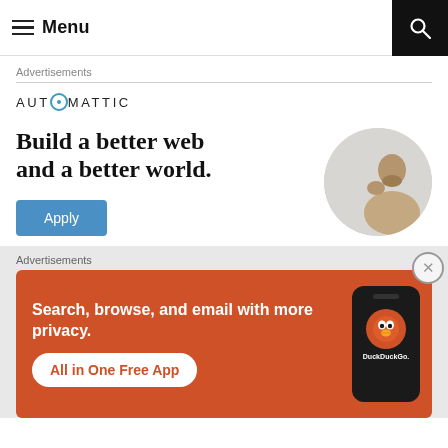Menu
Advertisements
[Figure (infographic): Automattic advertisement: logo at top reading AUTOMATTIC with stylized O, large bold headline 'Build a better web and a better world.', blue Apply button, and circular photo of a man thinking.]
Advertisements
[Figure (infographic): DuckDuckGo advertisement on orange/red background: text 'Search, browse, and email with more privacy. All in One Free App' with phone mockup showing DuckDuckGo logo.]